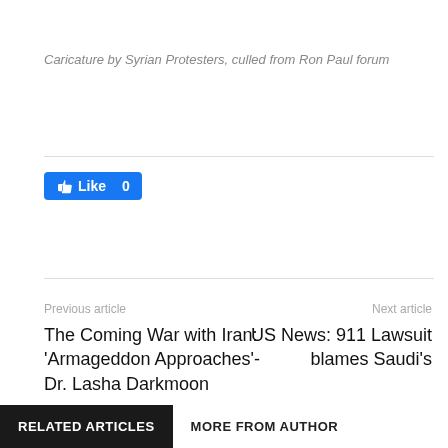Caricature by Syrian Protesters, culled from Ron Paul forum
[Figure (other): Facebook Like button showing 0 likes]
Previous article
Next article
The Coming War with Iran: 'Armageddon Approaches'- Dr. Lasha Darkmoon
US News: 911 Lawsuit blames Saudi's
RELATED ARTICLES
MORE FROM AUTHOR